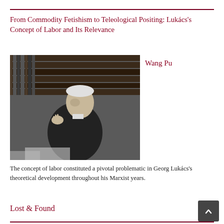From Commodity Fetishism to Teleological Positing: Lukács's Concept of Labor and Its Relevance
[Figure (photo): Black and white photograph of an elderly man (Georg Lukács) gesturing with his hands while seated, with bookshelves in the background.]
Wang Pu
The concept of labor constituted a pivotal problematic in Georg Lukács's theoretical development throughout his Marxist years.
Lost & Found